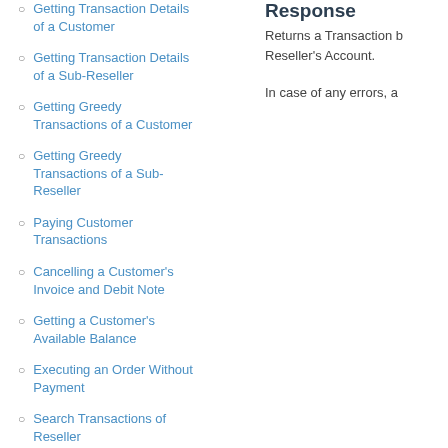Getting Transaction Details of a Customer
Getting Transaction Details of a Sub-Reseller
Getting Greedy Transactions of a Customer
Getting Greedy Transactions of a Sub-Reseller
Paying Customer Transactions
Cancelling a Customer's Invoice and Debit Note
Getting a Customer's Available Balance
Executing an Order Without Payment
Search Transactions of Reseller
Search Transactions of a Customer
Response
Returns a Transaction b Reseller's Account.
In case of any errors, a